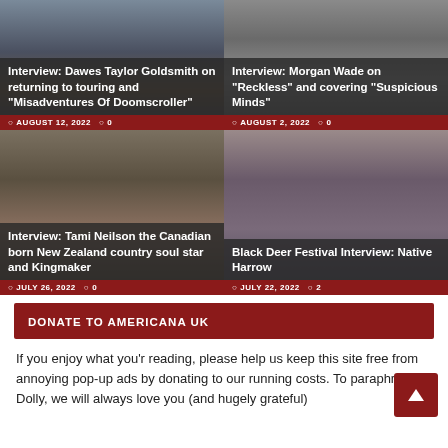[Figure (photo): Article card: Interview with Dawes Taylor Goldsmith, August 12, 2022, 0 comments]
[Figure (photo): Article card: Interview with Morgan Wade, August 2, 2022, 0 comments]
[Figure (photo): Article card: Interview with Tami Neilson, July 26, 2022, 0 comments]
[Figure (photo): Article card: Black Deer Festival Interview with Native Harrow, July 22, 2022, 2 comments]
DONATE TO AMERICANA UK
If you enjoy what you'r reading, please help us keep this site free from annoying pop-up ads by donating to our running costs. To paraphrase Dolly, we will always love you (and hugely grateful)